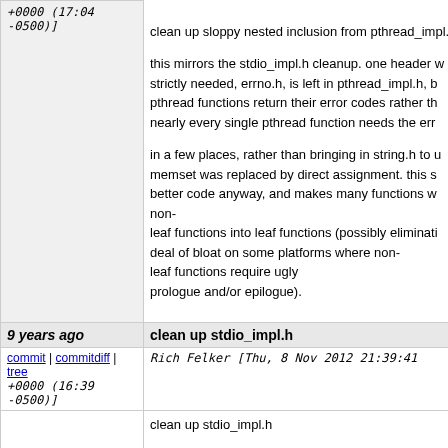+0000 (17:04 -0500)]
clean up sloppy nested inclusion from pthread_impl.h

this mirrors the stdio_impl.h cleanup. one header which was not strictly needed, errno.h, is left in pthread_impl.h, b... pthread functions return their error codes rather th... nearly every single pthread function needs the err...

in a few places, rather than bringing in string.h to u... memset was replaced by direct assignment. this s... better code anyway, and makes many functions w... non-leaf functions into leaf functions (possibly eliminati... deal of bloat on some platforms where non-leaf functions require ugly prologue and/or epilogue).
9 years ago
clean up stdio_impl.h
commit | commitdiff | tree
Rich Felker [Thu, 8 Nov 2012 21:39:41 +0000 (16:39 -0500)]
clean up stdio_impl.h

this header evolved to facilitate the extremely lazy... omitting explicit includes of the necessary headers... stdio source files; not only was this sloppy, but it a... build time.